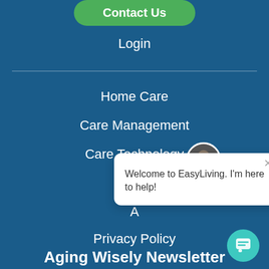Contact Us
Login
Home Care
Care Management
Care Technology
R...
A...
Privacy Policy
[Figure (screenshot): Chat popup with avatar photo and message: Welcome to EasyLiving. I'm here to help!]
Aging Wisely Newsletter